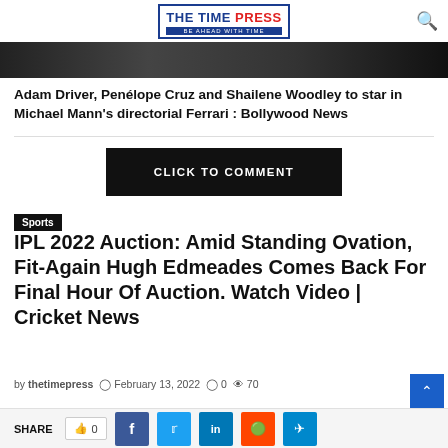THE TIME PRESS — BE AHEAD WITH TIME
[Figure (photo): Dark photo strip showing partial faces of Adam Driver, Penelope Cruz, and Shailene Woodley]
Adam Driver, Penélope Cruz and Shailene Woodley to star in Michael Mann's directorial Ferrari : Bollywood News
[Figure (other): Black button with white text: CLICK TO COMMENT]
Sports
IPL 2022 Auction: Amid Standing Ovation, Fit-Again Hugh Edmeades Comes Back For Final Hour Of Auction. Watch Video | Cricket News
by thetimepress  February 13, 2022   0   70
SHARE   0   [Facebook] [Twitter] [LinkedIn] [Reddit] [Telegram]